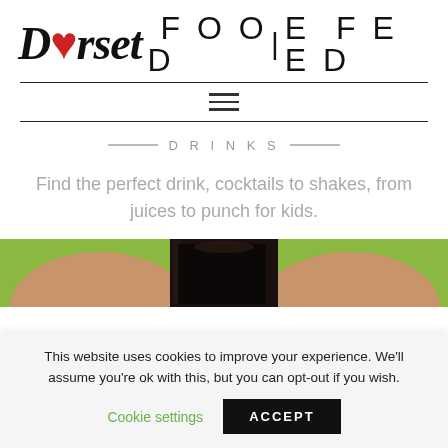Dorset FOODIE FEED
DRINKS
Find the perfect drink, cocktails to shakes, from juices to punch for kids.
[Figure (photo): Photo of a dark drink in a glass, held by hands, with green bokeh background]
This website uses cookies to improve your experience. We'll assume you're ok with this, but you can opt-out if you wish.
Cookie settings   ACCEPT